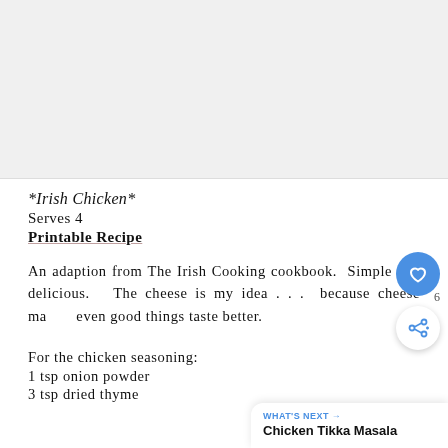[Figure (other): Gray banner/advertisement area at top of page]
*Irish Chicken*
Serves 4
Printable Recipe
An adaption from The Irish Cooking cookbook.  Simple and delicious.  The cheese is my idea . . .  because cheese makes even good things taste better.
For the chicken seasoning:
1 tsp onion powder
3 tsp dried thyme